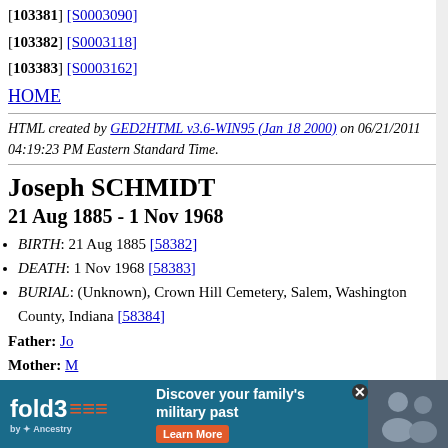[103381] [S0003090]
[103382] [S0003118]
[103383] [S0003162]
HOME
HTML created by GED2HTML v3.6-WIN95 (Jan 18 2000) on 06/21/2011 04:19:23 PM Eastern Standard Time.
Joseph SCHMIDT
21 Aug 1885 - 1 Nov 1968
BIRTH: 21 Aug 1885 [58382]
DEATH: 1 Nov 1968 [58383]
BURIAL: (Unknown), Crown Hill Cemetery, Salem, Washington County, Indiana [58384]
Father:
Mother: